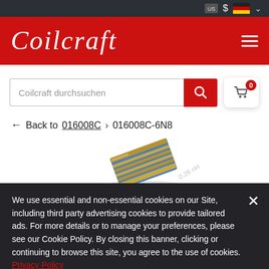Coilcraft
Coilcraft durchsuchen
← Back to 016008C › 016008C-6N8
[Figure (photo): Close-up photo of a small electronic inductor component (Coilcraft 016008C-6N8), rectangular blue and gold colored chip component on white background]
We use essential and non-essential cookies on our Site, including third party advertising cookies to provide tailored ads. For more details or to manage your preferences, please see our Cookie Policy. By closing this banner, clicking or continuing to browse this site, you agree to the use of cookies. Privacy Policy